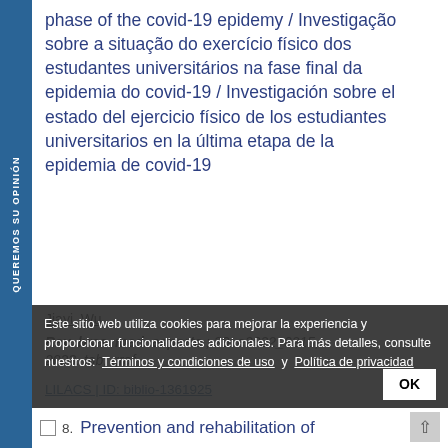phase of the covid-19 epidemy / Investigação sobre a situação do exercício físico dos estudantes universitários na fase final da epidemia do covid-19 / Investigación sobre el estado del ejercicio físico de los estudiantes universitarios en la última etapa de la epidemia de covid-19
Jiayi, Wu.
Rev. bras. med. esporte ; 29: e2022_0215, 2023. tab, graf
LILACS | ID: biblio-1361925
Este sitio web utiliza cookies para mejorar la experiencia y proporcionar funcionalidades adicionales. Para más detalles, consulte nuestros: Términos y condiciones de uso y Política de privacidad
8. Prevention and rehabilitation of